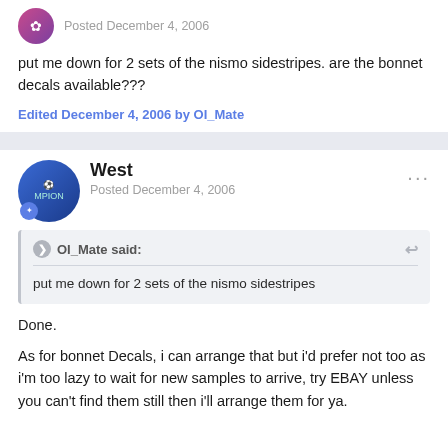Posted December 4, 2006
put me down for 2 sets of the nismo sidestripes. are the bonnet decals available???
Edited December 4, 2006 by OI_Mate
West
Posted December 4, 2006
OI_Mate said:
put me down for 2 sets of the nismo sidestripes
Done.
As for bonnet Decals, i can arrange that but i'd prefer not too as i'm too lazy to wait for new samples to arrive, try EBAY unless you can't find them still then i'll arrange them for ya.